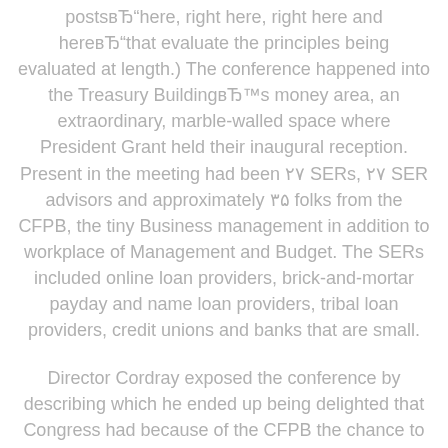postsвЂ"here, right here, right here and hereвЂ"that evaluate the principles being evaluated at length.) The conference happened into the Treasury BuildingвЂ™s money area, an extraordinary, marble-walled space where President Grant held their inaugural reception. Present in the meeting had been ۲۷ SERs, ۲۷ SER advisors and approximately ۳۵ folks from the CFPB, the tiny Business management in addition to workplace of Management and Budget. The SERs included online loan providers, brick-and-mortar payday and name loan providers, tribal loan providers, credit unions and banks that are small.
Director Cordray exposed the conference by describing which he ended up being delighted that Congress had because of the CFPB the chance to hear from small enterprises. Then he described the guidelines at a level that is high emphasized the